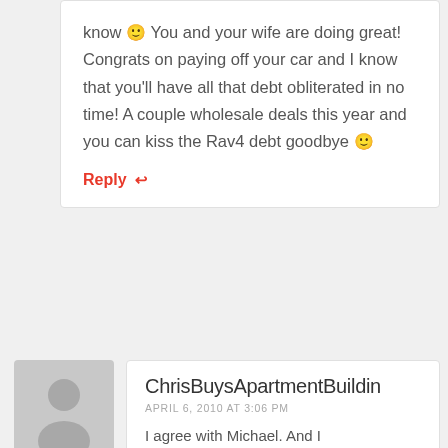know 🙂 You and your wife are doing great! Congrats on paying off your car and I know that you'll have all that debt obliterated in no time! A couple wholesale deals this year and you can kiss the Rav4 debt goodbye 🙂
Reply ↩
[Figure (illustration): Generic grey user avatar placeholder image showing silhouette of a person]
ChrisBuysApartmentBuildin
APRIL 6, 2010 AT 3:06 PM
I agree with Michael. And I understand why you feel that way